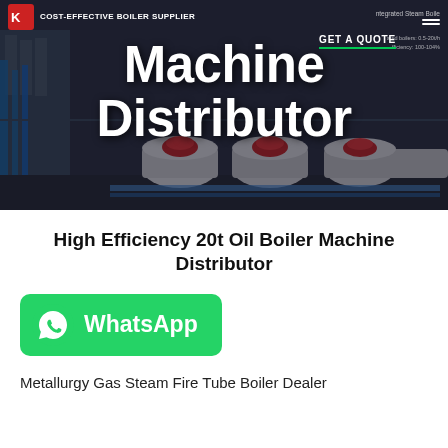[Figure (photo): Website hero banner showing industrial boiler machines in a dark-themed layout with navigation bar, tagline 'COST-EFFECTIVE BOILER SUPPLIER', large white text 'Machine Distributor', and a GET A QUOTE button with green underline]
High Efficiency 20t Oil Boiler Machine Distributor
[Figure (logo): WhatsApp button — green rounded rectangle with WhatsApp phone icon and 'WhatsApp' text in white]
Metallurgy Gas Steam Fire Tube Boiler Dealer